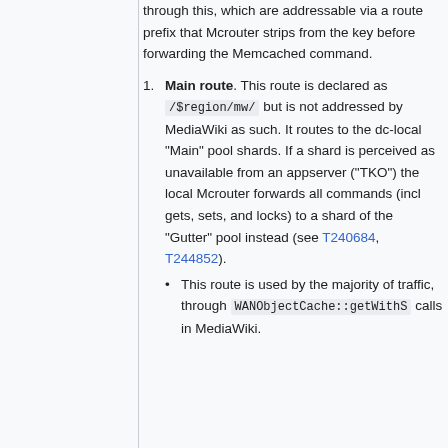through this, which are addressable via a route prefix that Mcrouter strips from the key before forwarding the Memcached command.
Main route. This route is declared as /$region/mw/ but is not addressed by MediaWiki as such. It routes to the dc-local "Main" pool shards. If a shard is perceived as unavailable from an appserver ("TKO") the local Mcrouter forwards all commands (incl gets, sets, and locks) to a shard of the "Gutter" pool instead (see T240684, T244852).
This route is used by the majority of traffic, through WANObjectCache::getWithS calls in MediaWiki.